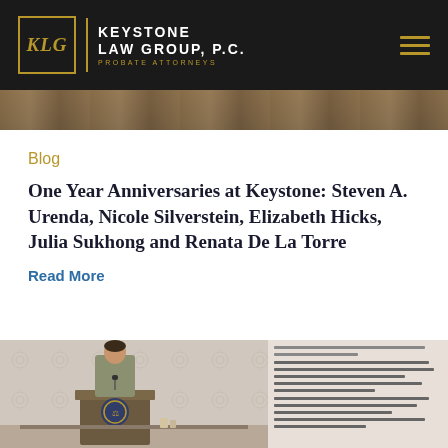[Figure (logo): Keystone Law Group P.C. Probate Attorneys logo with KLG monogram in gold border on dark background]
Blog
One Year Anniversaries at Keystone: Steven A. Urenda, Nicole Silverstein, Elizabeth Hicks, Julia Sukhong and Renata De La Torre
Read More
[Figure (photo): Woman speaking at a podium at a conference or event; document text visible on right side]